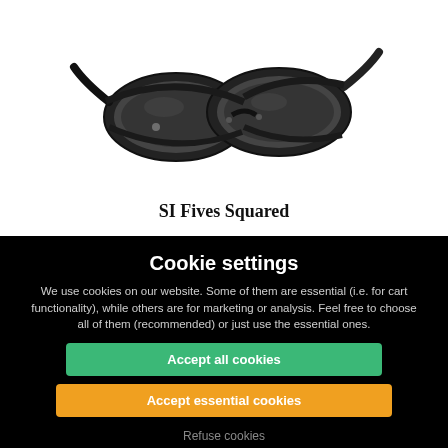[Figure (photo): A pair of Oakley SI Fives Squared black sunglasses with dark lenses, viewed from a three-quarter angle on a white background.]
SI Fives Squared
Cookie settings
We use cookies on our website. Some of them are essential (i.e. for cart functionality), while others are for marketing or analysis. Feel free to choose all of them (recommended) or just use the essential ones.
Accept all cookies
Accept essential cookies
Refuse cookies